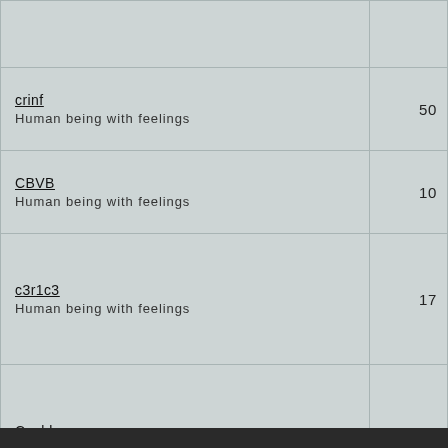| Name / Description | Value |
| --- | --- |
|  |  |
| crinf
Human being with feelings | 50 |
| CBVB
Human being with feelings | 10 |
| c3r1c3
Human being with feelings | 17 |
| Csabb
Human being with feelings | 143 |
| C Ray
Human being with feelings | 0 |